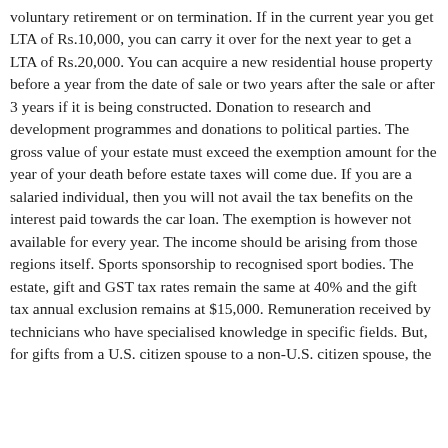voluntary retirement or on termination. If in the current year you get LTA of Rs.10,000, you can carry it over for the next year to get a LTA of Rs.20,000. You can acquire a new residential house property before a year from the date of sale or two years after the sale or after 3 years if it is being constructed. Donation to research and development programmes and donations to political parties. The gross value of your estate must exceed the exemption amount for the year of your death before estate taxes will come due. If you are a salaried individual, then you will not avail the tax benefits on the interest paid towards the car loan. The exemption is however not available for every year. The income should be arising from those regions itself. Sports sponsorship to recognised sport bodies. The estate, gift and GST tax rates remain the same at 40% and the gift tax annual exclusion remains at $15,000. Remuneration received by technicians who have specialised knowledge in specific fields. But, for gifts from a U.S. citizen spouse to a non-U.S. citizen spouse, the